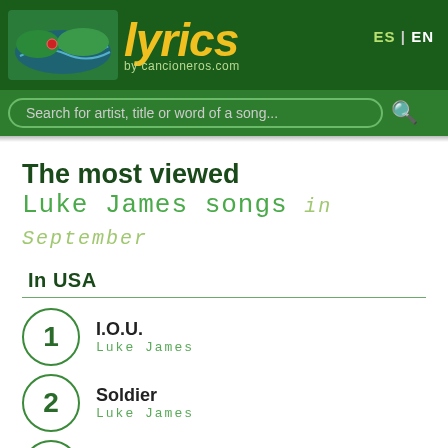lyrics by cancioneros.com  ES | EN
Search for artist, title or word of a song...
The most viewed
Luke James songs in September
In USA
1. I.O.U. - Luke James
2. Soldier - Luke James
3. Pull Up - Luke James
4. I Want You - Luke James